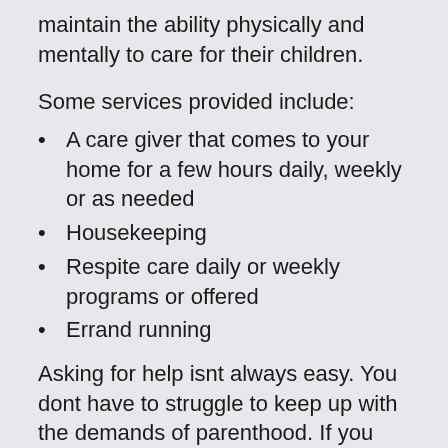maintain the ability physically and mentally to care for their children.
Some services provided include:
A care giver that comes to your home for a few hours daily, weekly or as needed
Housekeeping
Respite care daily or weekly programs or offered
Errand running
Asking for help isnt always easy. You dont have to struggle to keep up with the demands of parenthood. If you need help, just ask and schedule a free assessment to discuss options please call Allegiance HHC today!
Agency contacts: ARCH National Respite